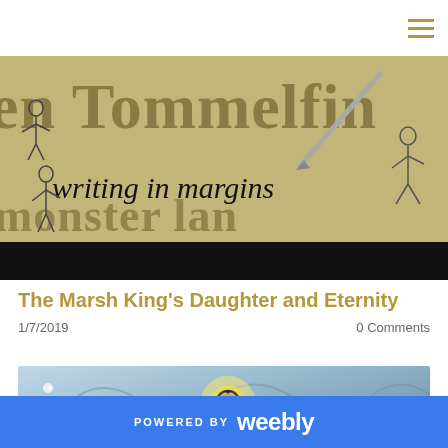writing in margins (blog header banner)
The Marsh King's Daughter and Eternity
1/7/2019    0 Comments
[Figure (illustration): Illustration of a figure with a halo holding a cross, surrounded by swirling sky]
POWERED BY weebly